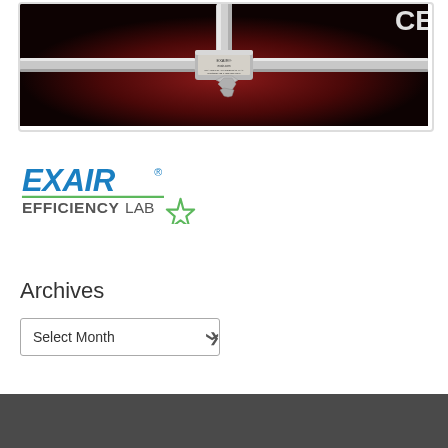[Figure (photo): EXAIR industrial air nozzle/fitting device mounted on a cross pipe, shown against a dark red background. CE marking visible in upper right corner. EXAIR label on the central fitting component.]
[Figure (logo): EXAIR Efficiency Lab logo. EXAIR in bold blue italic text with registered trademark symbol, green underline, and EFFICIENCYLAB text with a green star graphic.]
Archives
Select Month